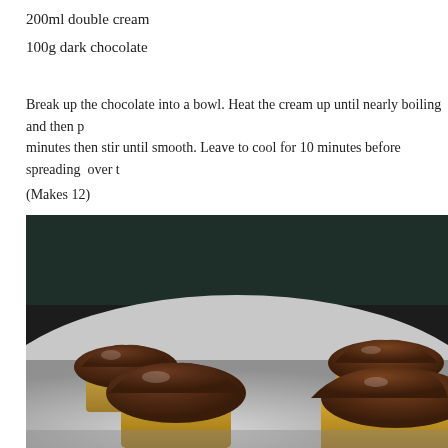200ml double cream
100g dark chocolate
Break up the chocolate into a bowl. Heat the cream up until nearly boiling and then p minutes then stir until smooth. Leave to cool for 10 minutes before spreading  over t
(Makes 12)
[Figure (photo): Close-up photo of chocolate ganache-topped cupcakes in gold foil wrappers on a light surface with dark background]